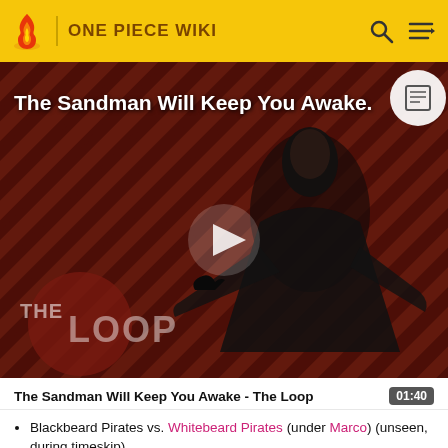ONE PIECE WIKI
[Figure (screenshot): Video thumbnail for 'The Sandman Will Keep You Awake - The Loop' showing a dark-cloaked figure against a red diagonal-striped background, with THE LOOP watermark, a play button in the center, and a circular icon in the top-right corner.]
The Sandman Will Keep You Awake - The Loop  01:40
Blackbeard Pirates vs. Whitebeard Pirates (under Marco) (unseen, during timeskip)
Blackbeard Pirates vs. Revolutionary Army (unseen)